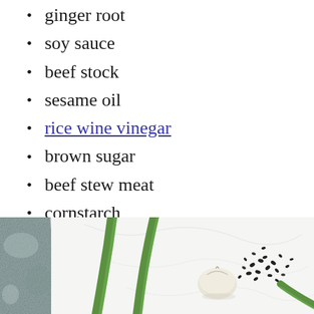ginger root
soy sauce
beef stock
sesame oil
rice wine vinegar
brown sugar
beef stew meat
cornstarch
sesame seeds
scallions
[Figure (photo): Overhead photo showing green onions/scallions, garlic clove, and scattered sesame seeds on a white marble surface, with a grey stone texture on the left side.]